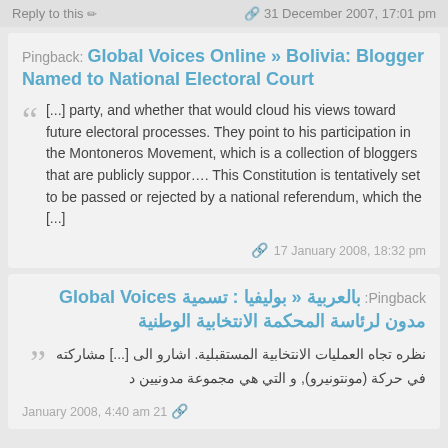Reply to this  ✏  31 December 2007, 17:01 pm
Pingback: Global Voices Online » Bolivia: Blogger Named to National Electoral Court
[...] party, and whether that would cloud his views toward future electoral processes. They point to his participation in the Montoneros Movement, which is a collection of bloggers that are publicly suppor.... This Constitution is tentatively set to be passed or rejected by a national referendum, which the [...]
17 January 2008, 18:32 pm
Pingback: بالعربية « بوليفيا : تسمية Global Voices مدون لرئاسة المحكمة الانتخابية الوطنية
نظره تجاه العمليات الانتخابية المستقبلية. اشارو الى [...] مشاركته في حركة (مونتونيرو), و التي هي مجموعة مدونيين د
21 January 2008, 4:40 am